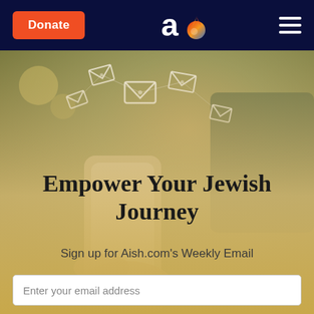Donate | Aish.com logo | Menu
[Figure (photo): A woman holding a smartphone with glowing email envelope icons flying out of the phone, set against a warm blurred outdoor background. The lower portion fades into a warm beige/golden color overlay.]
Empower Your Jewish Journey
Sign up for Aish.com's Weekly Email
Enter your email address